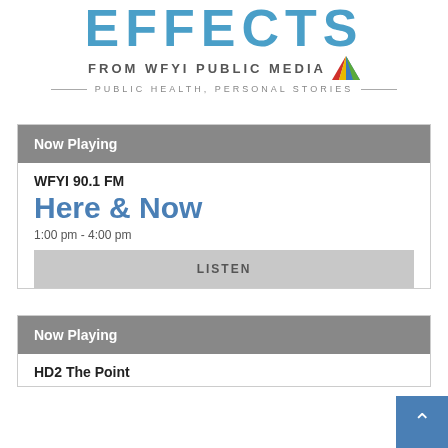EFFECTS FROM WFYI PUBLIC MEDIA — PUBLIC HEALTH, PERSONAL STORIES
Now Playing
WFYI 90.1 FM
Here & Now
1:00 pm - 4:00 pm
LISTEN
Now Playing
HD2 The Point